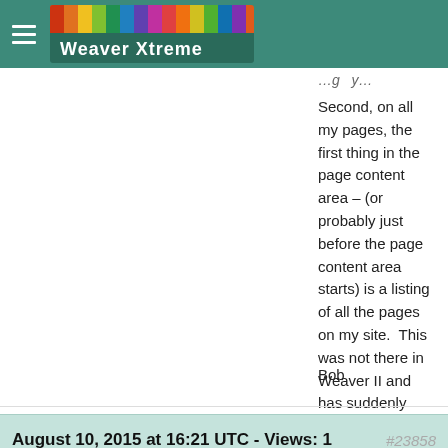Weaver Xtreme
Second, on all my pages, the first thing in the page content area – (or probably just before the page content area starts) is a listing of all the pages on my site.  This was not there in Weaver II and has suddenly appeared in Weaver Xtreme.  I can’t seem to find how to turn this off, either.
I am sure these are obvious settings I just can’t find.
Thanks for the help!

Bob
August 10, 2015 at 16:21 UTC - Views: 1
#23858
With an epiphany, I solved this myself.  The answer for anyone else having a problem with this is that in the...